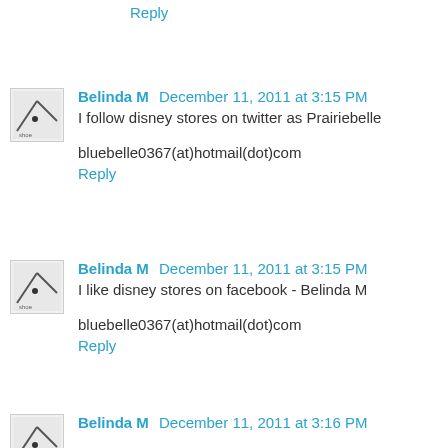Reply
Belinda M  December 11, 2011 at 3:15 PM
I follow disney stores on twitter as Prairiebelle
bluebelle0367(at)hotmail(dot)com
Reply
Belinda M  December 11, 2011 at 3:15 PM
I like disney stores on facebook - Belinda M
bluebelle0367(at)hotmail(dot)com
Reply
Belinda M  December 11, 2011 at 3:16 PM